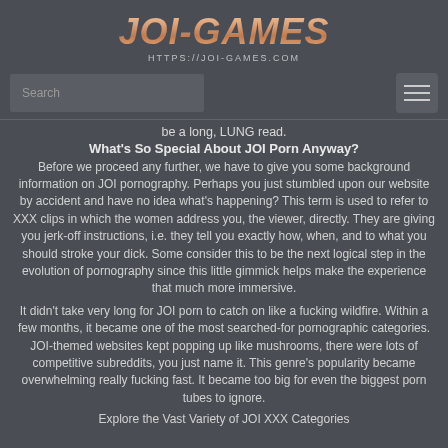[Figure (logo): JOI-GAMES logo with metallic gradient text and URL https://joi-games.com below]
Search (search box) and hamburger menu icon
be a long, LUNG read.
What's So Special About JOI Porn Anyway?
Before we proceed any further, we have to give you some background information on JOI pornography. Perhaps you just stumbled upon our website by accident and have no idea what's happening? This term is used to refer to XXX clips in which the women address you, the viewer, directly. They are giving you jerk-off instructions, i.e. they tell you exactly how, when, and to what you should stroke your dick. Some consider this to be the next logical step in the evolution of pornography since this little gimmick helps make the experience that much more immersive.
It didn't take very long for JOI porn to catch on like a fucking wildfire. Within a few months, it became one of the most searched-for pornographic categories. JOI-themed websites kept popping up like mushrooms, there were lots of competitive subreddits, you just name it. This genre's popularity became overwhelming really fucking fast. It became too big for even the biggest porn tubes to ignore.
Explore the Vast Variety of JOI XXX Categories